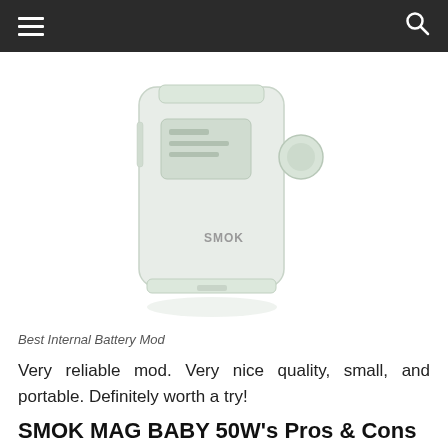[Figure (photo): SMOK MAG Baby 50W vape mod device, light colored/white version, shown from a front-angled perspective]
Best Internal Battery Mod
Very reliable mod. Very nice quality, small, and portable. Definitely worth a try!
SMOK MAG BABY 50W's Pros & Cons